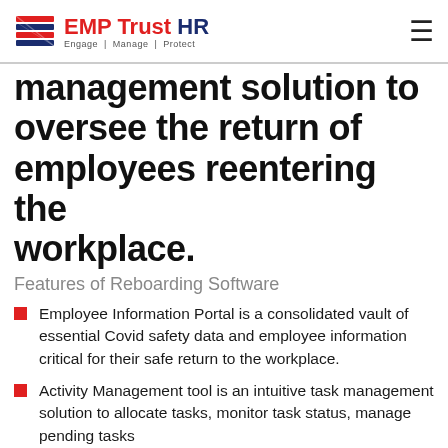EMP Trust HR — Engage | Manage | Protect
management solution to oversee the return of employees reentering the workplace.
Features of Reboarding Software
Employee Information Portal is a consolidated vault of essential Covid safety data and employee information critical for their safe return to the workplace.
Activity Management tool is an intuitive task management solution to allocate tasks, monitor task status, manage pending tasks